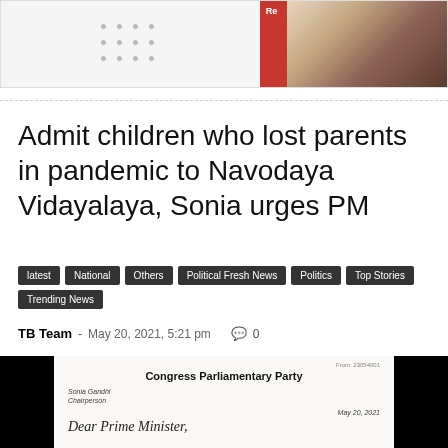[Figure (photo): Top banner with dot grid pattern on left and partial image of a person in red clothing on right with 'Re' badge]
Admit children who lost parents in pandemic to Navodaya Vidayalaya, Sonia urges PM
latest
National
Others
Political Fresh News
Politics
Top Stories
Trending News
TB Team - May 20, 2021, 5:21 pm  0
[Figure (photo): Congress Parliamentary Party letterhead from Sonia Gandhi, Chairperson, dated May 20, 2021, with handwritten signature beginning 'Dear Prime Minister']